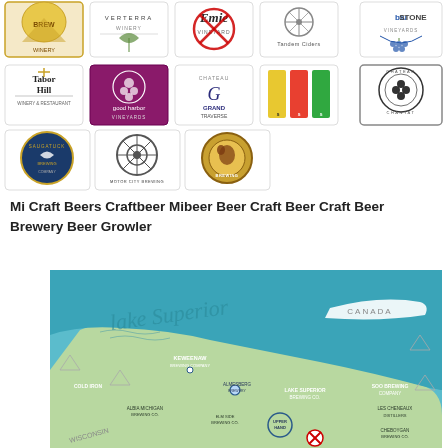[Figure (illustration): Grid of Michigan craft beverage brand logos: row 1 (partial): unnamed, Verterra Winery, Emie Vineyards (with X overlay), Tandem Ciders, Blustone Vineyards; row 2: Tabor Hill Winery & Restaurant, Good Harbor Vineyards, Chateau Grand Traverse, Shorts Brewing (colorful cans), Chateau Chantat; row 3: Saugatuck Brewing Company, Motor City Brewing Works, Dogpound Brewing]
Mi Craft Beers Craftbeer Mibeer Beer Craft Beer Craft Beer Brewery Beer Growler
[Figure (map): Illustrated map of Michigan's Upper Peninsula showing Lake Superior and Canada label, with brewery locations marked: Keweenaw Brewing Company, Cold Iron, Almesberg Brewery, Lake Superior Brewing Co, Soo Brewing Company, Albia Michigan Brewing Co, Elm Side Brewing Co, Upper Hand, Les Cheneaux Distillers, Cheboygan Brewing Co, Wisconsin label, and other markers.]